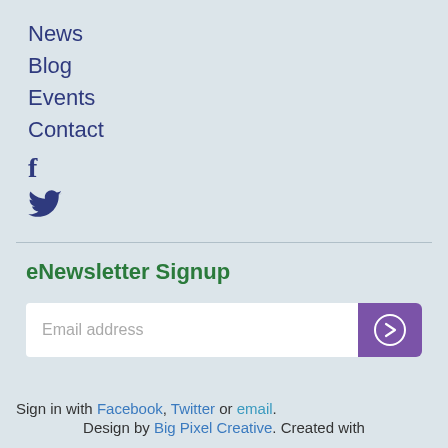News
Blog
Events
Contact
[Figure (illustration): Facebook icon (f) and Twitter bird icon in dark navy blue]
eNewsletter Signup
[Figure (screenshot): Email address input field with purple submit button containing a right-arrow circle icon]
Sign in with Facebook, Twitter or email. Design by Big Pixel Creative. Created with